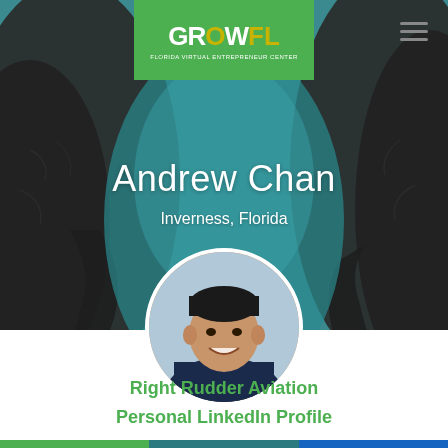[Figure (screenshot): GrowFL website profile page screenshot showing hero section with elephant background, GrowFL logo, navigation hamburger menu, name 'Andrew Chan', location 'Inverness, Florida', circular profile headshot, and links to Right Rudder Aviation and Personal LinkedIn Profile]
Andrew Chan
Inverness, Florida
Right Rudder Aviation
Personal LinkedIn Profile